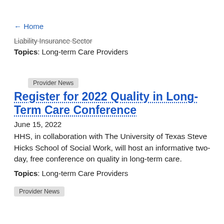← Home
Liability Insurance Sector
Topics: Long-term Care Providers
Provider News
Register for 2022 Quality in Long-Term Care Conference
June 15, 2022
HHS, in collaboration with The University of Texas Steve Hicks School of Social Work, will host an informative two-day, free conference on quality in long-term care.
Topics: Long-term Care Providers
Provider News